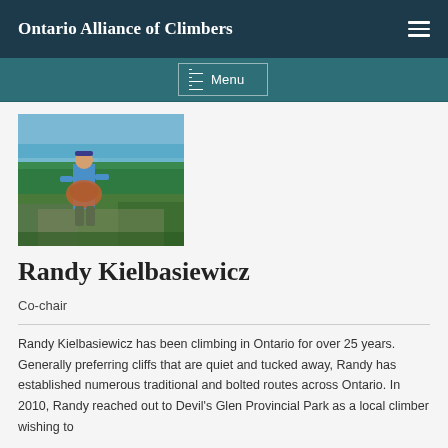Ontario Alliance of Climbers
[Figure (photo): A climber standing on a rocky outcrop holding ropes, with a forested landscape and water visible in the background.]
Randy Kielbasiewicz
Co-chair
Randy Kielbasiewicz has been climbing in Ontario for over 25 years. Generally preferring cliffs that are quiet and tucked away, Randy has established numerous traditional and bolted routes across Ontario. In 2010, Randy reached out to Devil's Glen Provincial Park as a local climber wishing to